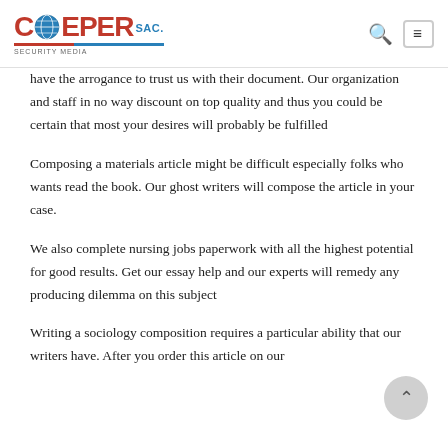COEPER SAC. [logo with globe]
have the arrogance to trust us with their document. Our organization and staff in no way discount on top quality and thus you could be certain that most your desires will probably be fulfilled
Composing a materials article might be difficult especially folks who wants read the book. Our ghost writers will compose the article in your case.
We also complete nursing jobs paperwork with all the highest potential for good results. Get our essay help and our experts will remedy any producing dilemma on this subject
Writing a sociology composition requires a particular ability that our writers have. After you order this article on our